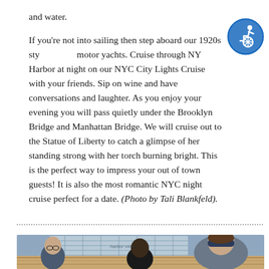and water.

If you're not into sailing then step aboard our 1920s style motor yachts. Cruise through NY Harbor at night on our NYC City Lights Cruise with your friends. Sip on wine and have conversations and laughter. As you enjoy your evening you will pass quietly under the Brooklyn Bridge and Manhattan Bridge. We will cruise out to the Statue of Liberty to catch a glimpse of her standing strong with her torch burning bright. This is the perfect way to impress your out of town guests! It is also the most romantic NYC night cruise perfect for a date. (Photo by Tali Blankfeld).
[Figure (illustration): Blue circular accessibility/wheelchair icon badge]
[Figure (photo): Photo of people on a boat deck, man on the right wearing a sleep mask/blindfold, with harbor structures visible in the background]